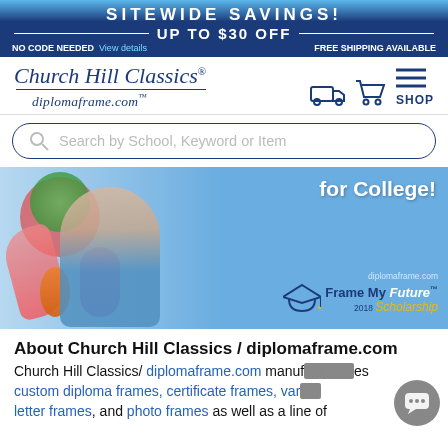SITEWIDE SAVINGS! UP TO $30 OFF — NO CODE NEEDED View details FREE SHIPPING AVAILABLE
[Figure (logo): Church Hill Classics / diplomaframe.com logo with navigation icons (truck, cart, menu/SHOP)]
Search by School, Keyword or Item
[Figure (illustration): Hero banner image showing an artistic illustration of a person with colorful brain/nature imagery on the left, and on the right text reading 'for College!' and the diplomaframe.com Frame My Future 2018 Scholarship logo]
About Church Hill Classics / diplomaframe.com
Church Hill Classics/ diplomaframe.com manufactures custom diploma frames, certificate frames, varsity letter frames, and photo frames as well as a line of